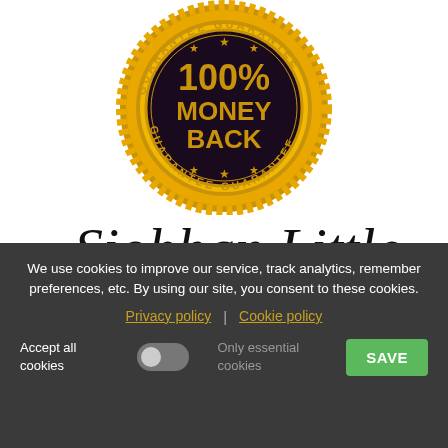[Figure (illustration): Gold and dark brown circular guarantee seal badge with serrated/scalloped gold outer edge, reading '100% MONEY BACK' in large gold letters in the center dark section, with 'GUARANTEE' text repeated around the circle and stars decorating the border.]
[Figure (illustration): Cursive handwritten signature reading 'Siobhan Little' in black ink on white background.]
We use cookies to improve our service, track analytics, remember preferences, etc. By using our site, you consent to these cookies.
Privacy policy | Cookie policy
Accept all cookies
Only essential cookies
SAVE